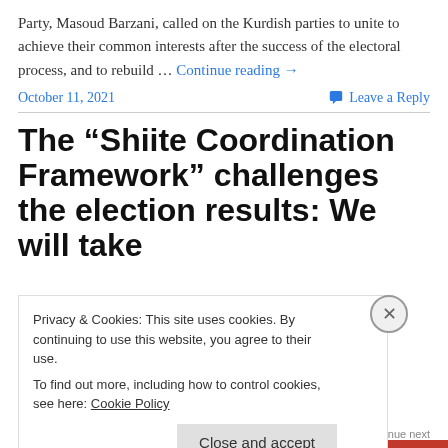Party, Masoud Barzani, called on the Kurdish parties to unite to achieve their common interests after the success of the electoral process, and to rebuild … Continue reading →
October 11, 2021    Leave a Reply
The “Shiite Coordination Framework” challenges the election results: We will take
Privacy & Cookies: This site uses cookies. By continuing to use this website, you agree to their use.
To find out more, including how to control cookies, see here: Cookie Policy